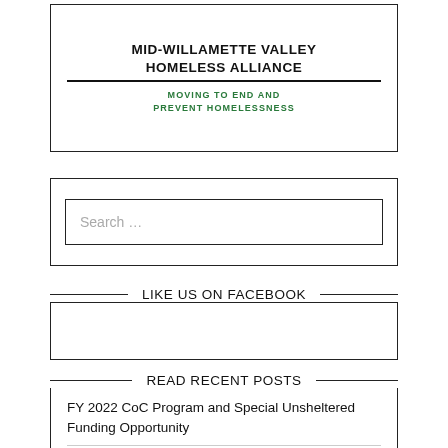[Figure (logo): Mid-Willamette Valley Homeless Alliance logo with text 'MOVING TO END AND PREVENT HOMELESSNESS']
Search ...
LIKE US ON FACEBOOK
READ RECENT POSTS
FY 2022 CoC Program and Special Unsheltered Funding Opportunity